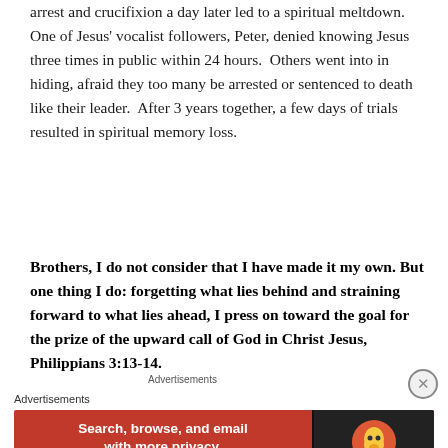arrest and crucifixion a day later led to a spiritual meltdown.  One of Jesus' vocalist followers, Peter, denied knowing Jesus three times in public within 24 hours.  Others went into in hiding, afraid they too many be arrested or sentenced to death like their leader.  After 3 years together, a few days of trials resulted in spiritual memory loss.
Brothers, I do not consider that I have made it my own. But one thing I do: forgetting what lies behind and straining forward to what lies ahead, I press on toward the goal for the prize of the upward call of God in Christ Jesus, Philippians 3:13-14.
Advertisements
Advertisements
[Figure (other): DuckDuckGo advertisement banner: orange/red background on left with white bold text 'Search, browse, and email with more privacy.' and a white pill button 'All in One Free App'. Dark right panel with DuckDuckGo duck logo and 'DuckDuckGo' label.]